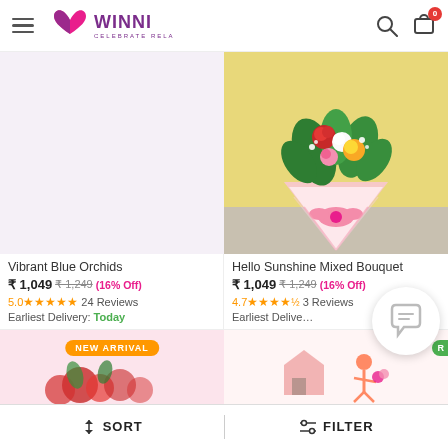Winni - Celebrate Relations
[Figure (photo): Left product card: blank/white image area for Vibrant Blue Orchids]
Vibrant Blue Orchids
₹ 1,049  ₹ 1,249  (16% Off)
5.0 ★★★★★  24 Reviews
Earliest Delivery: Today
[Figure (photo): Right product card: Hello Sunshine Mixed Bouquet - colorful flower bouquet with roses on yellow background wrapped in pink]
Hello Sunshine Mixed Bouquet
₹ 1,049  ₹ 1,249  (16% Off)
4.7 ★★★★½  3 Reviews
Earliest Delivery:
[Figure (photo): Bottom left card with NEW ARRIVAL badge and red rose arrangement]
[Figure (photo): Bottom right card with floral/cartoon illustration]
SORT  |  FILTER